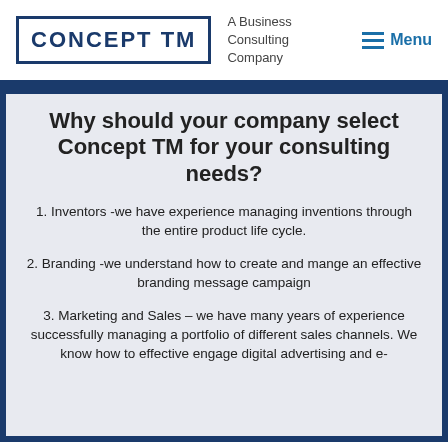[Figure (logo): Concept TM logo in a rectangular border with tagline 'A Business Consulting Company' and a Menu button]
Why should your company select Concept TM for your consulting needs?
1. Inventors -we have experience managing inventions through the entire product life cycle.
2. Branding -we understand how to create and mange an effective branding message campaign
3. Marketing and Sales – we have many years of experience successfully managing a portfolio of different sales channels. We know how to effective engage digital advertising and e-